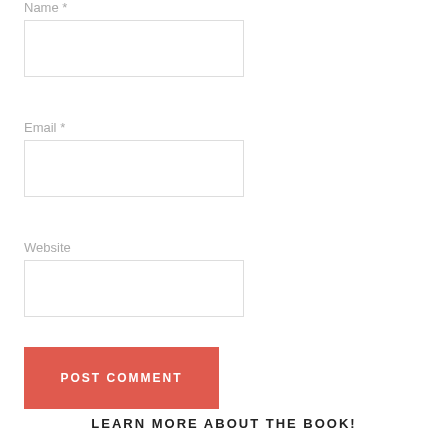Name *
[Figure (other): Empty text input box for Name field]
Email *
[Figure (other): Empty text input box for Email field]
Website
[Figure (other): Empty text input box for Website field]
[Figure (other): Red POST COMMENT button]
LEARN MORE ABOUT THE BOOK!